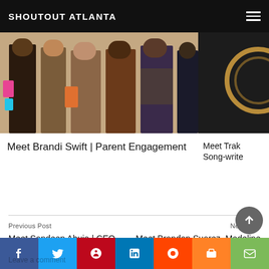SHOUTOUT ATLANTA
[Figure (photo): Group of women standing together holding shopping bags, wearing colorful outfits]
Meet Brandi Swift | Parent Engagement
[Figure (photo): Partial photo with dark background and circular light element]
Meet Trak Song-write
Previous Post
Meet Sandeep Ahuja | CEO and Co-Founder at cove.tool
Next Post
Meet Brandon Suarez, Madeline Smith, Jonathan Noel | Musician & Producer
Leave a comment